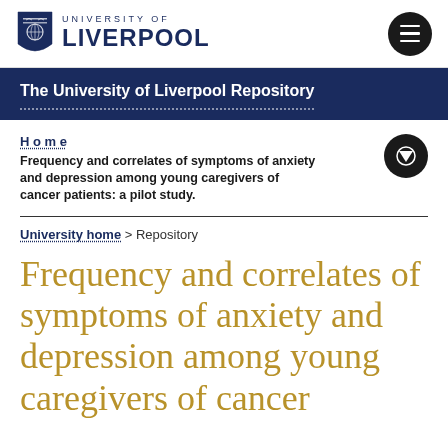[Figure (logo): University of Liverpool shield logo with text UNIVERSITY OF LIVERPOOL]
The University of Liverpool Repository
Home
Frequency and correlates of symptoms of anxiety and depression among young caregivers of cancer patients: a pilot study.
University home > Repository
Frequency and correlates of symptoms of anxiety and depression among young caregivers of cancer